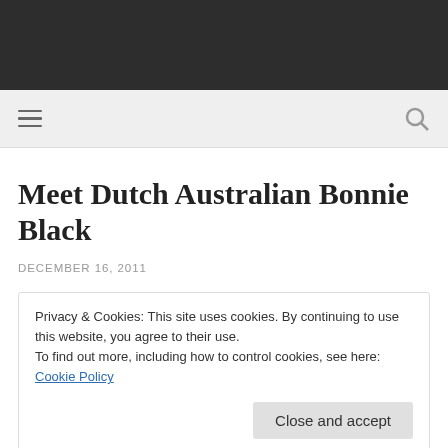Meet Dutch Australian Bonnie Black
DECEMBER 16, 2011
Privacy & Cookies: This site uses cookies. By continuing to use this website, you agree to their use.
To find out more, including how to control cookies, see here: Cookie Policy
Close and accept